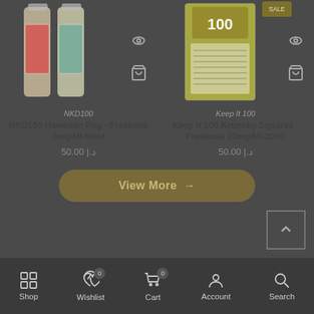[Figure (screenshot): Product image of NKD100 vape bottles (two bottles with label)]
NKD100
NKD100 Hawaiian Pog - Freebase 3mg/Ml-50ml
50.00 |.د
[Figure (screenshot): Product image of Keep It 100 Krunchy Squares vape box]
Keep It 100
Keep It 100 Krunchy Squares - Freebase 20mg/Ml-30ml
50.00 |.د
View More →
Shop  Wishlist 0  Cart 0  Account  Search